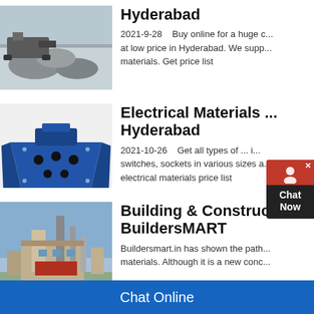[Figure (photo): Aerial photo of quarry/mining site with machinery and stone piles]
Hyderabad
2021-9-28    Buy online for a huge c... at low price in Hyderabad. We supp... materials. Get price list
[Figure (photo): Blue industrial crusher/rock breaker machine on white background]
Electrical Materials ... Hyderabad
2021-10-26    Get all types of ... i... switches, sockets in various sizes a... electrical materials price list
[Figure (photo): Industrial factory/plant with tall structures under blue sky]
Building & Construction... BuildersMART
Buildersmart.in has shown the path... materials. Although it is a new conc...
Chat Online